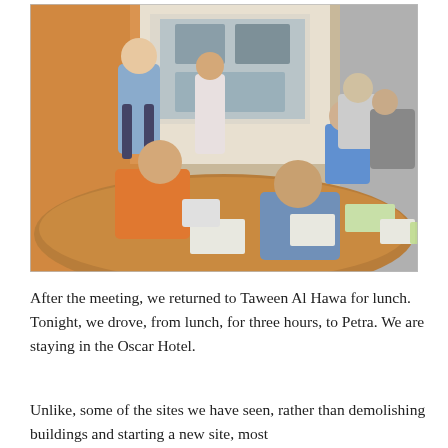[Figure (photo): A group of people seated around a conference table in a meeting room. A man in a light blue shirt stands at the front near a projected screen showing construction or building images. Participants have papers and tablets. The room has an orange-lit wall on the left.]
After the meeting, we returned to Taween Al Hawa for lunch. Tonight, we drove, from lunch, for three hours, to Petra. We are staying in the Oscar Hotel.
Unlike, some of the sites we have seen, rather than demolishing buildings and starting a new site, most